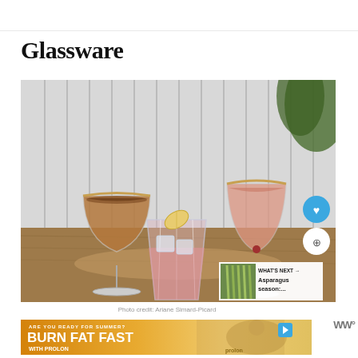Glassware
[Figure (photo): Three cocktail glasses on a wooden table against a white paneled wall. Left: dark espresso martini-style cocktail in a coupe glass with gold rim. Center: pink cocktail with ice and citrus garnish in a crystal rocks glass. Right: pink/orange cocktail in a stemmed glass with gold rim. A blue heart button and white share button are visible on the right. A 'WHAT'S NEXT' card showing asparagus is in the lower right corner.]
Photo credit: Ariane Simard-Picard
[Figure (photo): Advertisement banner: ARE YOU READY FOR SUMMER? BURN FAT FAST WITH PROLON — showing a woman in sunglasses and hat on gold/orange background with Prolon logo.]